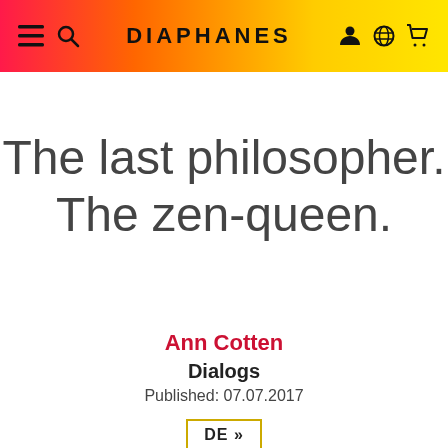DIAPHANES
The last philosopher. The zen-queen.
Ann Cotten
Dialogs
Published: 07.07.2017
DE >>